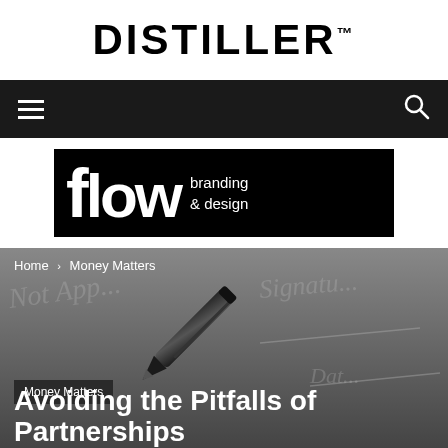DISTILLER™
[Figure (screenshot): Dark navigation bar with hamburger menu icon on left and search icon on right]
[Figure (logo): Flow branding & design logo — black background with white text]
[Figure (photo): Grayscale photo of a pen on a contract/document with signature lines visible. Breadcrumb navigation 'Home › Money Matters' overlaid at top, 'Money Matters' badge overlaid at bottom left.]
Avoiding the Pitfalls of Partnerships